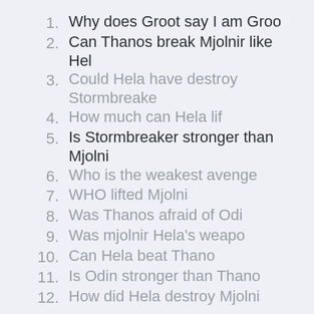1. Why does Groot say I am Groo
2. Can Thanos break Mjolnir like Hel
3. Could Hela have destroy Stormbreake
4. How much can Hela lif
5. Is Stormbreaker stronger than Mjolni
6. Who is the weakest avenge
7. WHO lifted Mjolni
8. Was Thanos afraid of Odi
9. Was mjolnir Hela's weapo
10. Can Hela beat Thano
11. Is Odin stronger than Thano
12. How did Hela destroy Mjolni